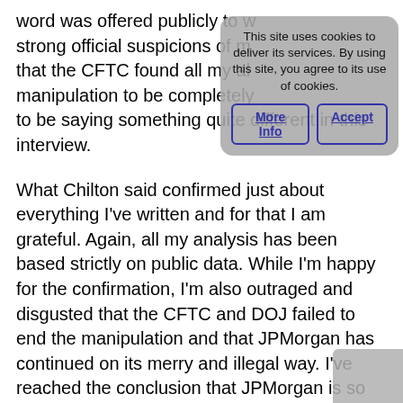word was offered publicly to w strong official suspicions of m that the CFTC found all my al manipulation to be completely to be saying something quite different in this interview.
What Chilton said confirmed just about everything I've written and for that I am grateful. Again, all my analysis has been based strictly on public data. While I'm happy for the confirmation, I'm also outraged and disgusted that the CFTC and DOJ failed to end the manipulation and that JPMorgan has continued on its merry and illegal way. I've reached the conclusion that JPMorgan is so well-connected and backed by such legal firepower that even the US Government, certainly in the form of the CFTC, but now also including the Justice Department, is no match for it.  As a result, my expectations for the DOJ cracking down